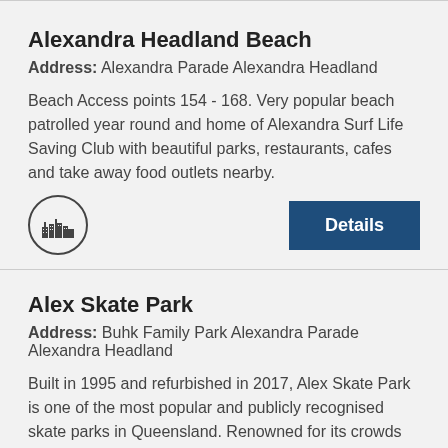Alexandra Headland Beach
Address: Alexandra Parade Alexandra Headland
Beach Access points 154 - 168. Very popular beach patrolled year round and home of Alexandra Surf Life Saving Club with beautiful parks, restaurants, cafes and take away food outlets nearby.
[Figure (illustration): Circular icon with a city/landmark silhouette inside]
Alex Skate Park
Address: Buhk Family Park Alexandra Parade Alexandra Headland
Built in 1995 and refurbished in 2017, Alex Skate Park is one of the most popular and publicly recognised skate parks in Queensland. Renowned for its crowds and idyllic location, Alex Skate Park is used by skaters, BMX riders and bladers of all skill levels. The public amenities are located south of the Alex Surf Club.